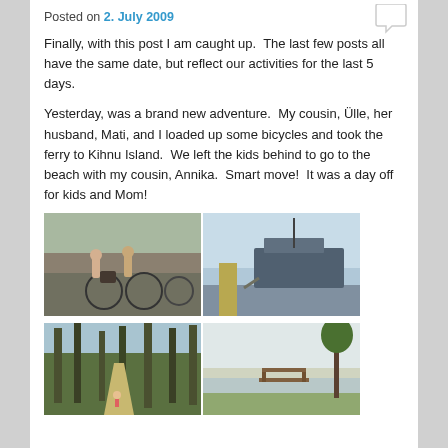Posted on 2. July 2009
Finally, with this post I am caught up. The last few posts all have the same date, but reflect our activities for the last 5 days.
Yesterday, was a brand new adventure. My cousin, Ülle, her husband, Mati, and I loaded up some bicycles and took the ferry to Kihnu Island. We left the kids behind to go to the beach with my cousin, Annika. Smart move! It was a day off for kids and Mom!
[Figure (photo): Two people with bicycles at a harbor/port area (left); A ferry boat docked at a pier (right)]
[Figure (photo): A forest path with a small figure cycling (left); A bench near water with trees (right)]